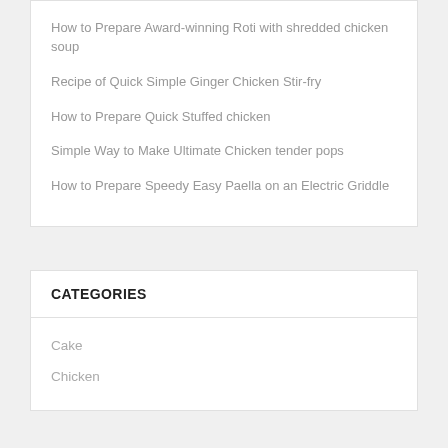How to Prepare Award-winning Roti with shredded chicken soup
Recipe of Quick Simple Ginger Chicken Stir-fry
How to Prepare Quick Stuffed chicken
Simple Way to Make Ultimate Chicken tender pops
How to Prepare Speedy Easy Paella on an Electric Griddle
CATEGORIES
Cake
Chicken